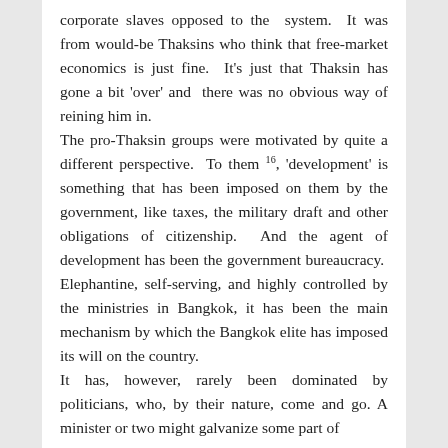corporate slaves opposed to the system. It was from would-be Thaksins who think that free-market economics is just fine. It's just that Thaksin has gone a bit 'over' and there was no obvious way of reining him in. The pro-Thaksin groups were motivated by quite a different perspective. To them 16, 'development' is something that has been imposed on them by the government, like taxes, the military draft and other obligations of citizenship. And the agent of development has been the government bureaucracy. Elephantine, self-serving, and highly controlled by the ministries in Bangkok, it has been the main mechanism by which the Bangkok elite has imposed its will on the country. It has, however, rarely been dominated by politicians, who, by their nature, come and go. A minister or two might galvanize some part of